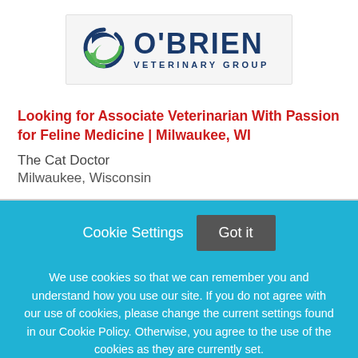[Figure (logo): O'Brien Veterinary Group logo with circular blue/green swoosh icon and bold navy text reading O'BRIEN and VETERINARY GROUP below]
Looking for Associate Veterinarian With Passion for Feline Medicine | Milwaukee, WI
The Cat Doctor
Milwaukee, Wisconsin
Cookie Settings  Got it
We use cookies so that we can remember you and understand how you use our site. If you do not agree with our use of cookies, please change the current settings found in our Cookie Policy. Otherwise, you agree to the use of the cookies as they are currently set.